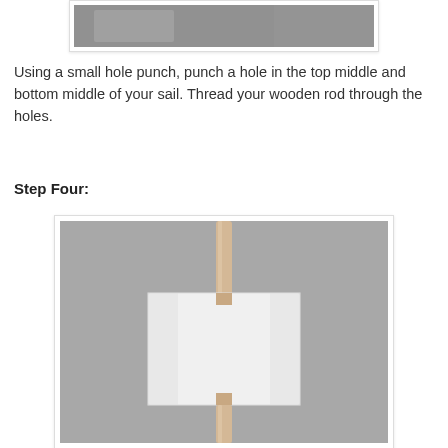[Figure (photo): Top portion of a photo showing craft materials, partially cropped at top of page]
Using a small hole punch, punch a hole in the top middle and bottom middle of your sail. Thread your wooden rod through the holes.
Step Four:
[Figure (photo): Photo showing a white square piece of felt or foam threaded onto a wooden rod/dowel, creating a sail shape. The wooden rod passes through the top and bottom middle of the white square sail. Background is grey.]